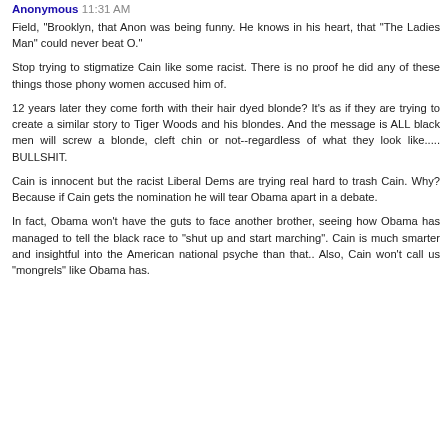Anonymous 11:31 AM
Field, "Brooklyn, that Anon was being funny. He knows in his heart, that "The Ladies Man" could never beat O."
Stop trying to stigmatize Cain like some racist. There is no proof he did any of these things those phony women accused him of.
12 years later they come forth with their hair dyed blonde? It's as if they are trying to create a similar story to Tiger Woods and his blondes. And the message is ALL black men will screw a blonde, cleft chin or not--regardless of what they look like..... BULLSHIT.
Cain is innocent but the racist Liberal Dems are trying real hard to trash Cain. Why? Because if Cain gets the nomination he will tear Obama apart in a debate.
In fact, Obama won't have the guts to face another brother, seeing how Obama has managed to tell the black race to "shut up and start marching". Cain is much smarter and insightful into the American national psyche than that.. Also, Cain won't call us "mongrels" like Obama has.